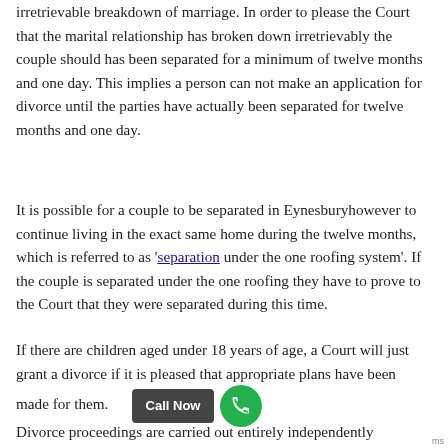irretrievable breakdown of marriage. In order to please the Court that the marital relationship has broken down irretrievably the couple should has been separated for a minimum of twelve months and one day. This implies a person can not make an application for divorce until the parties have actually been separated for twelve months and one day.
It is possible for a couple to be separated in Eynesburyhowever to continue living in the exact same home during the twelve months, which is referred to as 'separation under the one roofing system'. If the couple is separated under the one roofing they have to prove to the Court that they were separated during this time.
If there are children aged under 18 years of age, a Court will just grant a divorce if it is pleased that appropriate plans have been made for them.
Divorce proceedings are carried out entirely independently